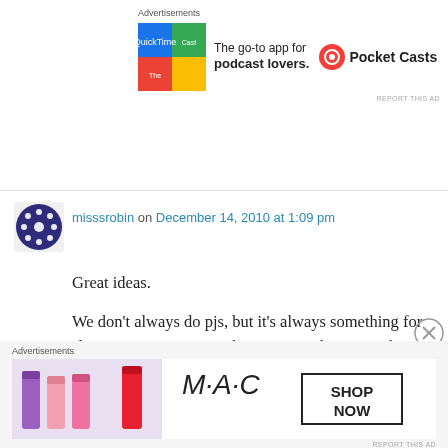[Figure (other): Top advertisement banner: Pocket Casts app ad with colorful grid icon and text 'The go-to app for podcast lovers.']
misssrobin on December 14, 2010 at 1:09 pm
Great ideas.
We don't always do pjs, but it's always something for sleeping. One year a quilt. One year slippers and blankets. Usually pjs. This year I think I will get them each a new pillow and new sheets. They will be happy with them. And I will be happy because it's practical.
[Figure (other): Bottom advertisement banner: MAC cosmetics ad with lipsticks and 'SHOP NOW' text]